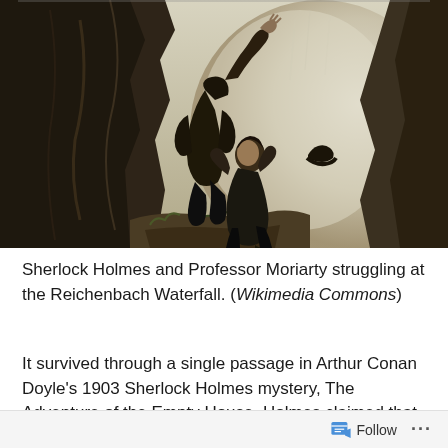[Figure (illustration): Painting depicting Sherlock Holmes and Professor Moriarty struggling at the edge of the Reichenbach Waterfall. Two dark-clad figures grappling on a rocky cliff edge, one with arm raised, against a misty pale background suggesting a deep waterfall drop. A hat is visible falling to the right.]
Sherlock Holmes and Professor Moriarty struggling at the Reichenbach Waterfall. (Wikimedia Commons)
It survived through a single passage in Arthur Conan Doyle's 1903 Sherlock Holmes mystery, The Adventure of the Empty House. Holmes claimed that he defeated his
Follow ···